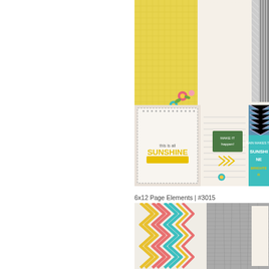[Figure (photo): Scrapbooking product display showing decorative journal cards and patterned papers with floral elements, yellow grid paper, chevron stripes, teal accents, and inspirational quote cards including 'SUNSHINE' and 'RAIN MAKES THE SUNSHINE BRIGHTER' text]
6x12 Page Elements | #3015
[Figure (photo): Scrapbooking paper products showing colorful zigzag/chevron pattern paper in yellow, pink, and teal on cream background, alongside a gray weathered wood texture paper with a cream cardstock strip]